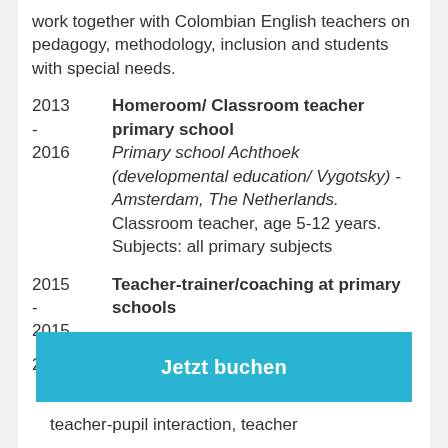work together with Colombian English teachers on pedagogy, methodology, inclusion and students with special needs.
2013 - 2016  Homeroom/ Classroom teacher primary school  Primary school Achthoek (developmental education/ Vygotsky) - Amsterdam, The Netherlands. Classroom teacher, age 5-12 years. Subjects: all primary subjects
2015 - 2015  Teacher-trainer/coaching at primary schools  Verifiziert  NGO Edukans The Netherlands - teacher-pupil interaction, teacher
Jetzt buchen
teacher-pupil interaction, teacher